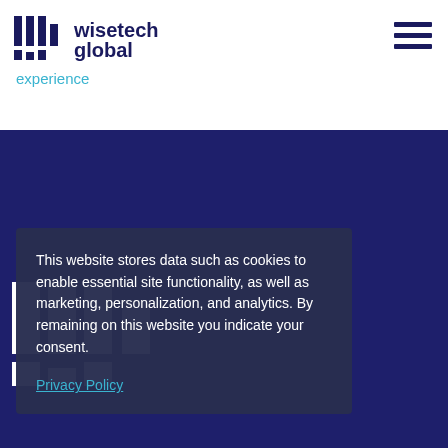[Figure (logo): WiseTech Global logo with bar chart icon and 'experience' tagline in teal]
[Figure (illustration): Hamburger menu icon (three horizontal dark blue lines) in top right corner]
[Figure (logo): Large WiseTech Global bar-chart logo mark in white on dark blue background]
ploi
stisseurs
This website stores data such as cookies to enable essential site functionality, as well as marketing, personalization, and analytics. By remaining on this website you indicate your consent.
Privacy Policy
Nos produits